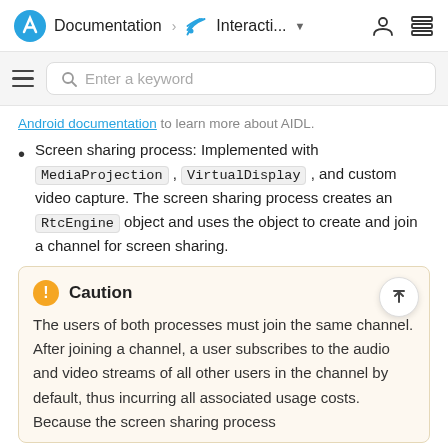Documentation > Interacti...
Android documentation to learn more about AIDL.
Screen sharing process: Implemented with MediaProjection, VirtualDisplay, and custom video capture. The screen sharing process creates an RtcEngine object and uses the object to create and join a channel for screen sharing.
Caution
The users of both processes must join the same channel. After joining a channel, a user subscribes to the audio and video streams of all other users in the channel by default, thus incurring all associated usage costs. Because the screen sharing process...